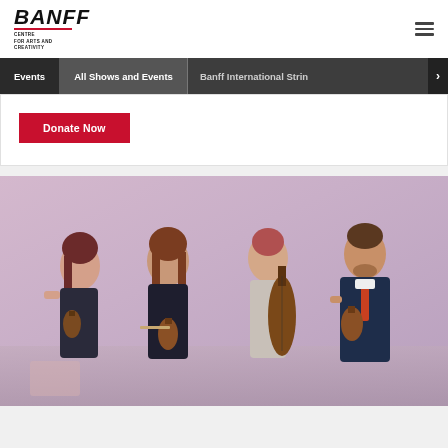BANFF Centre for Arts and Creativity
Events | All Shows and Events | Banff International String
Donate Now
[Figure (photo): Four musicians (string quartet) posing with their instruments against a pink/purple background. Three women and one man. Two women hold violins, one woman holds a cello, and the man holds a violin. The performers are dressed in dark formal attire.]